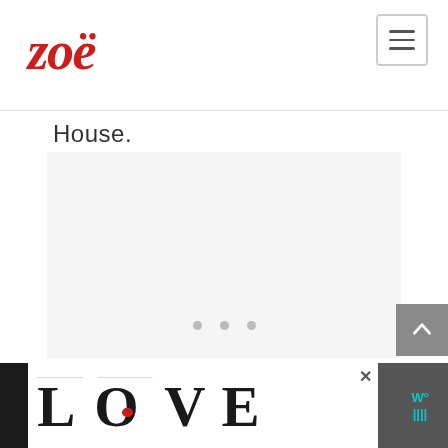[Figure (logo): Zoë logo in red cursive script]
House.
[Figure (other): Image carousel placeholder with grey background and three navigation dots]
[Figure (other): LOVE text graphic banner advertisement at the bottom]
[Figure (other): Scroll to top button (upward arrow) on grey square]